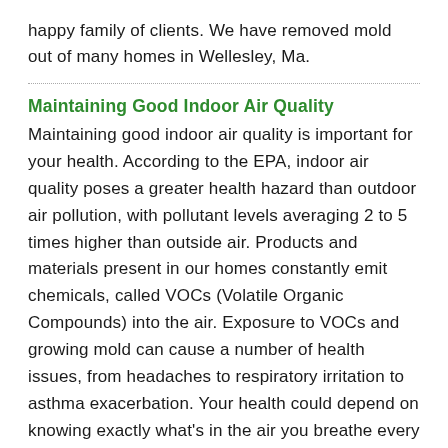happy family of clients. We have removed mold out of many homes in Wellesley, Ma.
Maintaining Good Indoor Air Quality
Maintaining good indoor air quality is important for your health. According to the EPA, indoor air quality poses a greater health hazard than outdoor air pollution, with pollutant levels averaging 2 to 5 times higher than outside air. Products and materials present in our homes constantly emit chemicals, called VOCs (Volatile Organic Compounds) into the air. Exposure to VOCs and growing mold can cause a number of health issues, from headaches to respiratory irritation to asthma exacerbation. Your health could depend on knowing exactly what's in the air you breathe every day. It is a known fact that prolonged chemical exposure can cause health problems, particularly for chemically-sensitive individuals, those with asthma or other chronic respiratory issues, pregnant women, and